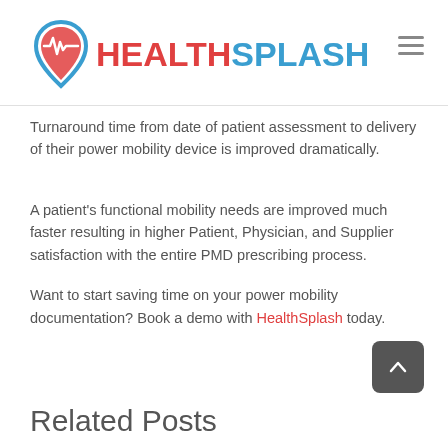[Figure (logo): HealthSplash logo with drop/heart icon and brand name in red and blue]
Turnaround time from date of patient assessment to delivery of their power mobility device is improved dramatically.
A patient's functional mobility needs are improved much faster resulting in higher Patient, Physician, and Supplier satisfaction with the entire PMD prescribing process.
Want to start saving time on your power mobility documentation? Book a demo with HealthSplash today.
Related Posts